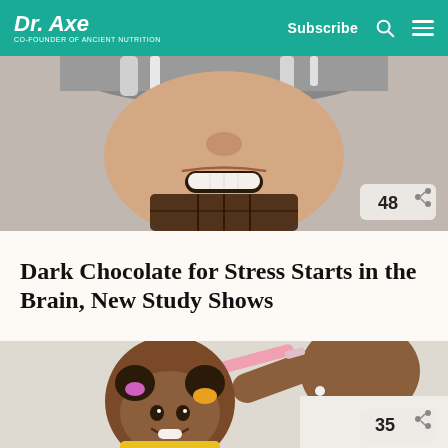Dr. Axe | Co-Founder of Ancient Nutrition | Subscribe
[Figure (photo): Close-up of an older woman smiling, holding dark chocolate, cropped at nose/mouth level. Share badge showing 48.]
Dark Chocolate for Stress Starts in the Brain, New Study Shows
[Figure (photo): A woman styling a young girl's hair with a pink brush. The little girl is smiling and has colorful hair ties. Share badge showing 35.]